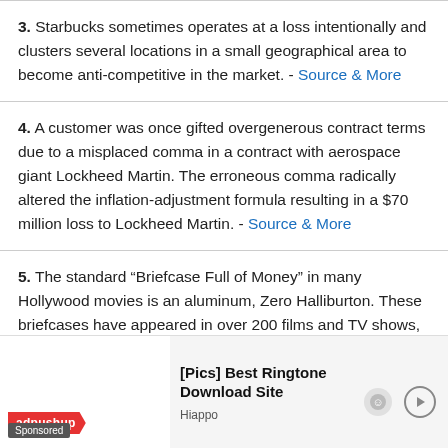3. Starbucks sometimes operates at a loss intentionally and clusters several locations in a small geographical area to become anti-competitive in the market. - Source & More
4. A customer was once gifted overgenerous contract terms due to a misplaced comma in a contract with aerospace giant Lockheed Martin. The erroneous comma radically altered the inflation-adjustment formula resulting in a $70 million loss to Lockheed Martin. - Source & More
5. The standard “Briefcase Full of Money” in many Hollywood movies is an aluminum, Zero Halliburton. These briefcases have appeared in over 200 films and TV shows, and are also believed...
[Figure (other): Advertisement banner: adpushup logo (red badge), ad title '[Pics] Best Ringtone Download Site' by Hiappo, with Sponsored label and navigation icons.]